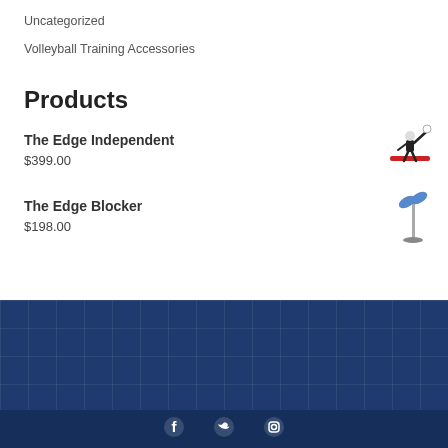Uncategorized
Volleyball Training Accessories
Products
The Edge Independent
$399.00
[Figure (illustration): Small illustration of a volleyball player spiking]
The Edge Blocker
$198.00
[Figure (illustration): Small illustration of a volleyball blocker training device]
THE EDGE PRO VOLLEYBALL TRAINER | (262) 229-9036 | INFO@EDGEPROVOLLEYBALL.COM
© THE EDGE PRO VOLLEYBALL TRAINER 2015-2017. PATENT PENDING.
[Figure (illustration): Social media icons: Facebook, Twitter, Instagram]